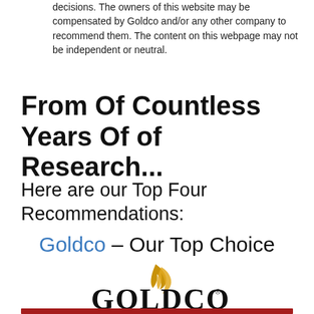decisions. The owners of this website may be compensated by Goldco and/or any other company to recommend them. The content on this webpage may not be independent or neutral.
From Of Countless Years Of of Research...
Here are our Top Four Recommendations:
Goldco – Our Top Choice
[Figure (logo): Goldco logo with stylized golden flame above the word GOLDCO in large serif letters with registered trademark symbol]